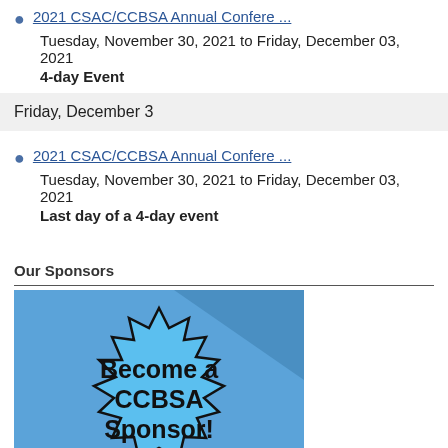2021 CSAC/CCBSA Annual Confere ...
Tuesday, November 30, 2021 to Friday, December 03, 2021
4-day Event
Friday, December 3
2021 CSAC/CCBSA Annual Confere ...
Tuesday, November 30, 2021 to Friday, December 03, 2021
Last day of a 4-day event
Our Sponsors
[Figure (illustration): Blue background with a starburst shape containing bold black text 'Become a CCBSA Sponsor!']